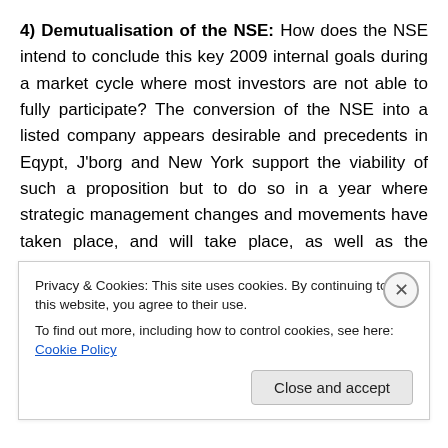4) Demutualisation of the NSE: How does the NSE intend to conclude this key 2009 internal goals during a market cycle where most investors are not able to fully participate? The conversion of the NSE into a listed company appears desirable and precedents in Eqypt, J'borg and New York support the viability of such a proposition but to do so in a year where strategic management changes and movements have taken place, and will take place, as well as the governance and process capacity issues/challenges taking place will require a broad range of investor support.
Privacy & Cookies: This site uses cookies. By continuing to use this website, you agree to their use. To find out more, including how to control cookies, see here: Cookie Policy
Close and accept